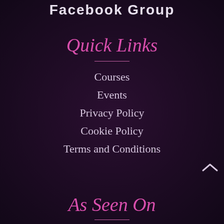Facebook Group
Quick Links
Courses
Events
Privacy Policy
Cookie Policy
Terms and Conditions
As Seen On